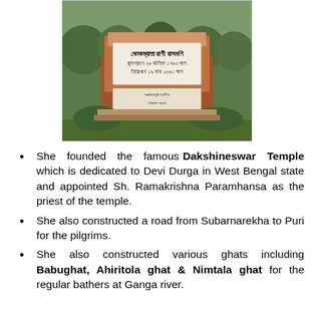[Figure (photo): A photograph of a stone monument or memorial with Bengali script text inscribed on a white plaque embedded in a reddish-brown stone structure, surrounded by green bushes and trees.]
She founded the famous Dakshineswar Temple which is dedicated to Devi Durga in West Bengal state and appointed Sh. Ramakrishna Paramhansa as the priest of the temple.
She also constructed a road from Subarnarekha to Puri for the pilgrims.
She also constructed various ghats including Babughat, Ahiritola ghat & Nimtala ghat for the regular bathers at Ganga river.